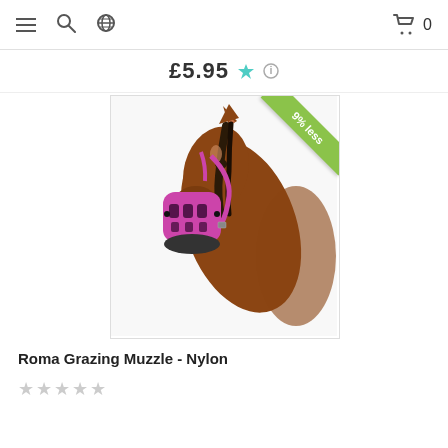Navigation bar with hamburger menu, search, globe/language selector, shopping cart (0 items)
£5.95
[Figure (photo): A brown horse wearing a pink/purple nylon grazing muzzle with a green '9% less' discount banner in the top-right corner of the product image]
Roma Grazing Muzzle - Nylon
★★★★★ (empty star rating, 5 stars all unselected)